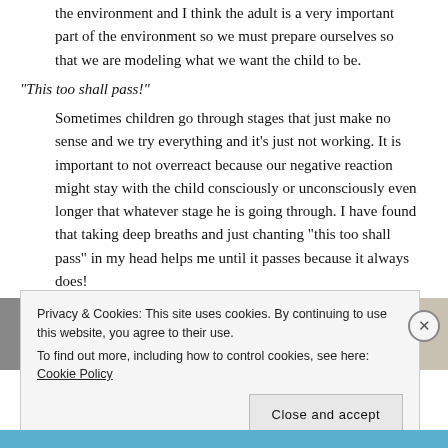the environment and I think the adult is a very important part of the environment so we must prepare ourselves so that we are modeling what we want the child to be.
“This too shall pass!”
Sometimes children go through stages that just make no sense and we try everything and it’s just not working. It is important to not overreact because our negative reaction might stay with the child consciously or unconsciously even longer that whatever stage he is going through. I have found that taking deep breaths and just chanting “this too shall pass” in my head helps me until it passes because it always does!
[Figure (photo): Partial view of two photos side by side, partially obscured by cookie banner]
Privacy & Cookies: This site uses cookies. By continuing to use this website, you agree to their use. To find out more, including how to control cookies, see here: Cookie Policy
Close and accept